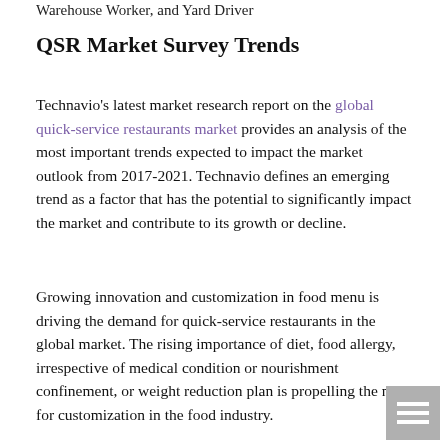Warehouse Worker, and Yard Driver
QSR Market Survey Trends
Technavio's latest market research report on the global quick-service restaurants market provides an analysis of the most important trends expected to impact the market outlook from 2017-2021. Technavio defines an emerging trend as a factor that has the potential to significantly impact the market and contribute to its growth or decline.
Growing innovation and customization in food menu is driving the demand for quick-service restaurants in the global market. The rising importance of diet, food allergy, irrespective of medical condition or nourishment confinement, or weight reduction plan is propelling the need for customization in the food industry.